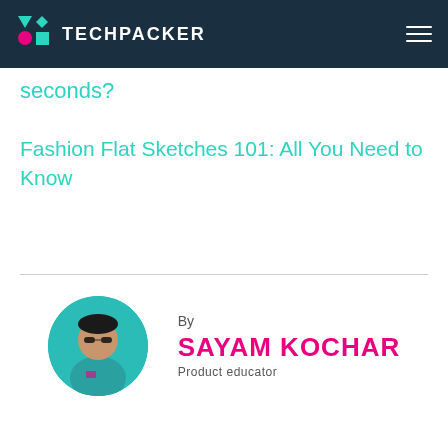TECHPACKER
seconds?
Fashion Flat Sketches 101: All You Need to Know
[Figure (photo): Circular profile photo of Sayam Kochar, a man wearing sunglasses and a teal shirt]
By SAYAM KOCHAR
Product educator